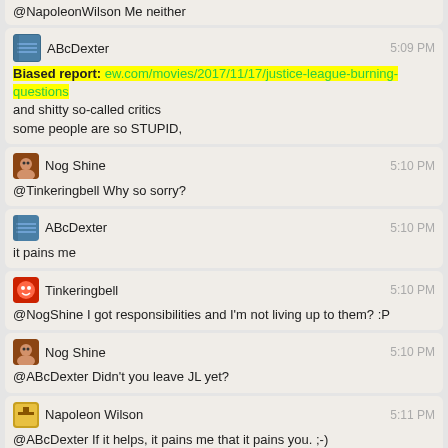@NapoleonWilson Me neither
ABcDexter 5:09 PM
Biased report: ew.com/movies/2017/11/17/justice-league-burning-questions
and shitty so-called critics
some people are so STUPID,
Nog Shine 5:10 PM
@Tinkeringbell Why so sorry?
ABcDexter 5:10 PM
it pains me
Tinkeringbell 5:10 PM
@NogShine I got responsibilities and I'm not living up to them? :P
Nog Shine 5:10 PM
@ABcDexter Didn't you leave JL yet?
Napoleon Wilson 5:11 PM
@ABcDexter If it helps, it pains me that it pains you. ;-)
DForck42 5:12 PM
@Tinkeringbell the mods here very hesitant to delete comments...
Tinkeringbell 5:12 PM
@DForck42 Keep nagging :P